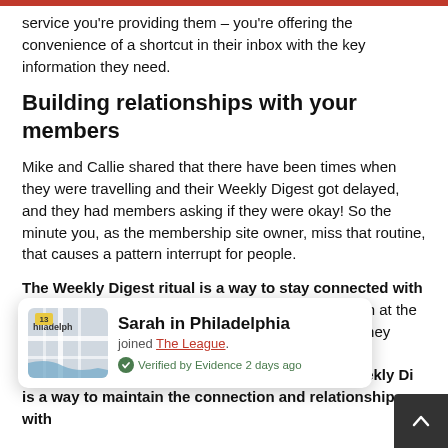service you're providing them – you're offering the convenience of a shortcut in their inbox with the key information they need.
Building relationships with your members
Mike and Callie shared that there have been times when they were travelling and their Weekly Digest got delayed, and they had members asking if they were okay! So the minute you, as the membership site owner, miss that routine, that causes a pattern interrupt for people.
The Weekly Digest ritual is a way to stay connected with members. It's why Mike and Callie have a paragraph at the start of their email that lets people into their world. They [have been working on. ...they're working on, So the Weekly Di... is a way to maintain the connection and relationship with]
[Figure (screenshot): Notification popup showing 'Sarah in Philadelphia joined The League. Verified by Evidence 2 days ago' with a map thumbnail of Philadelphia on the left.]